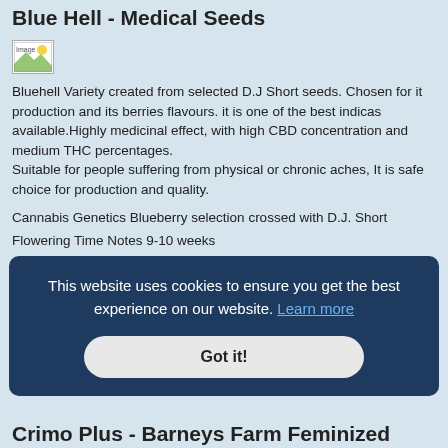Blue Hell - Medical Seeds
[Figure (photo): Image placeholder icon]
Bluehell Variety created from selected D.J Short seeds. Chosen for it production and its berries flavours. it is one of the best indicas available.Highly medicinal effect, with high CBD concentration and medium THC percentages.
Suitable for people suffering from physical or chronic aches, It is safe choice for production and quality.
Cannabis Genetics Blueberry selection crossed with D.J. Short
Flowering Time Notes 9-10 weeks
THC Notes 12-16%
Strain Notes High CBD
Indica >50% Cannabis Seeds yes
This website uses cookies to ensure you get the best experience on our website. Learn more
Got it!
Crimo Plus - Barneys Farm Feminized